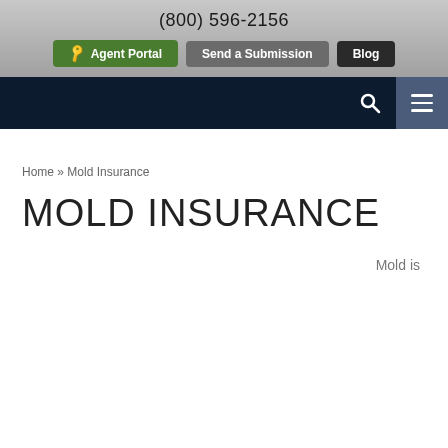(800) 596-2156
Agent Portal | Send a Submission | Blog
Home » Mold Insurance
MOLD INSURANCE
Mold is